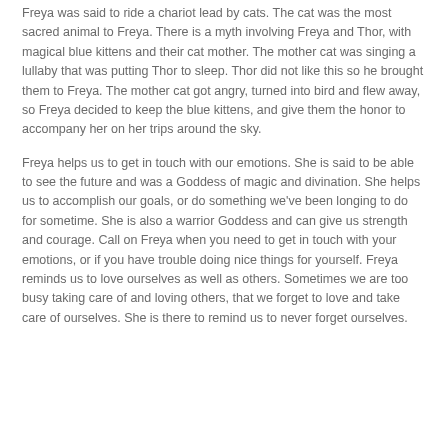Freya was said to ride a chariot lead by cats. The cat was the most sacred animal to Freya. There is a myth involving Freya and Thor, with magical blue kittens and their cat mother. The mother cat was singing a lullaby that was putting Thor to sleep. Thor did not like this so he brought them to Freya. The mother cat got angry, turned into bird and flew away, so Freya decided to keep the blue kittens, and give them the honor to accompany her on her trips around the sky.
Freya helps us to get in touch with our emotions. She is said to be able to see the future and was a Goddess of magic and divination. She helps us to accomplish our goals, or do something we've been longing to do for sometime. She is also a warrior Goddess and can give us strength and courage. Call on Freya when you need to get in touch with your emotions, or if you have trouble doing nice things for yourself. Freya reminds us to love ourselves as well as others. Sometimes we are too busy taking care of and loving others, that we forget to love and take care of ourselves. She is there to remind us to never forget ourselves.